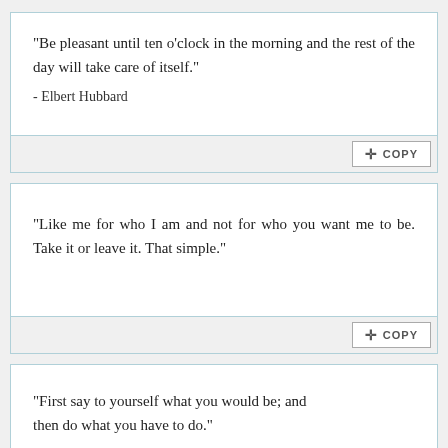"Be pleasant until ten o'clock in the morning and the rest of the day will take care of itself."
- Elbert Hubbard
"Like me for who I am and not for who you want me to be. Take it or leave it. That simple."
"First say to yourself what you would be; and then do what you have to do."